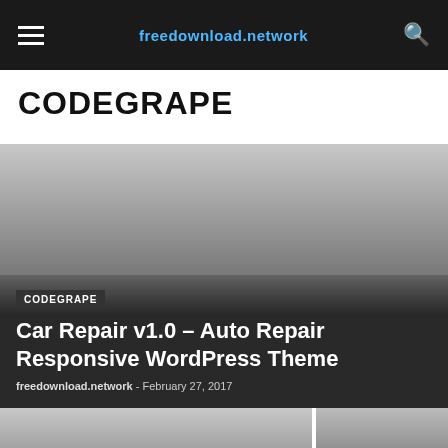freedownload.network
CODEGRAPE
[Figure (screenshot): Featured article card with gradient dark overlay showing category tag 'CODEGRAPE', article title 'Car Repair v1.0 – Auto Repair Responsive WordPress Theme', author 'freedownload.network' and date 'February 27, 2017']
[Figure (screenshot): Two bottom article card thumbnails each with a 'CODEGRAPE' category tag label, partially visible]